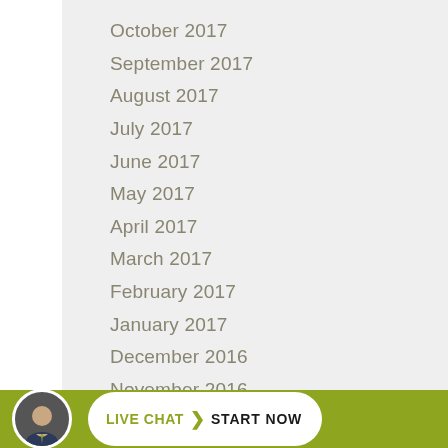October 2017
September 2017
August 2017
July 2017
June 2017
May 2017
April 2017
March 2017
February 2017
January 2017
December 2016
November 2016
October 2016
[Figure (infographic): Live chat button with person avatar and text 'LIVE CHAT > START NOW' on olive green background]